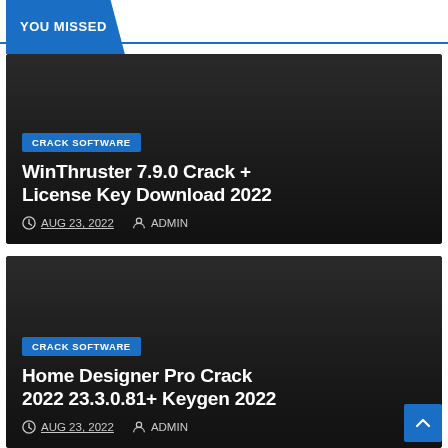YOU MISSED
[Figure (screenshot): Dark card with CRACK SOFTWARE badge, title: WinThruster 7.9.0 Crack + License Key Download 2022, date: AUG 23, 2022, author: ADMIN]
[Figure (screenshot): Dark card with CRACK SOFTWARE badge, title: Home Designer Pro Crack 2022 23.3.0.81+ Keygen 2022, date: AUG 23, 2022, author: ADMIN]